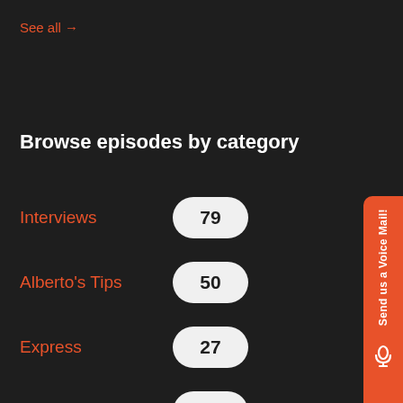See all →
Browse episodes by category
Interviews 79
Alberto's Tips 50
Express 27
How I Made It 15
Send us a Voice Mail!